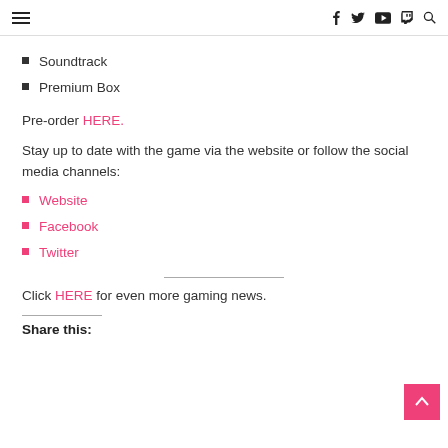Navigation header with hamburger menu and social icons: Facebook, Twitter, YouTube, Twitch, Search
Soundtrack
Premium Box
Pre-order HERE.
Stay up to date with the game via the website or follow the social media channels:
Website
Facebook
Twitter
Click HERE for even more gaming news.
Share this: